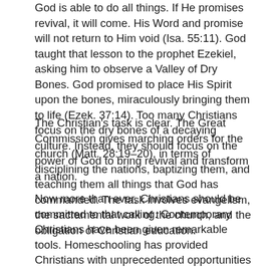God is able to do all things. If He promises revival, it will come. His Word and promise will not return to Him void (Isa. 55:11). God taught that lesson to the prophet Ezekiel, asking him to observe a Valley of Dry Bones. God promised to place His Spirit upon the bones, miraculously bringing them to life (Ezek. 37:14). Too many Christians focus on the dry bones of a decaying culture. Instead, they should focus on the power of God to bring revival and transform a nation.
The Christian's task is clear. The Great Commission gives marching orders for the church (Matt. 28:19–20), in terms of disciplining the nations, baptizing them, and teaching them all things that God has commanded. The task involves evangelism, the sacramental work of the church, and the obligation of Christian education.
Now more than ever, Christians should be committed to that calling. Contemporary Christians have been given remarkable tools. Homeschooling has provided Christians with unprecedented opportunities for training future generations. The Internet has provided incredible avenues for global evangelization and discipleship.